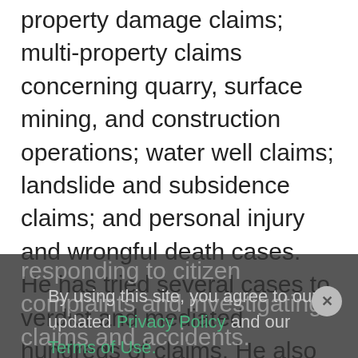property damage claims; multi-property claims concerning quarry, surface mining, and construction operations; water well claims; landslide and subsidence claims; and personal injury and wrongful death cases. He has tried several cases to verdict and mediated hundreds of claims. He also counsels clients and regularly presents to industry groups around the country on risk management and liability prevention practices, from implementing standard operating procedures and proper recordkeeping, to responding to citizen complaints and investigating claims and accidents.
Keller's practice and litigation experience also includes defending motor carriers and drivers